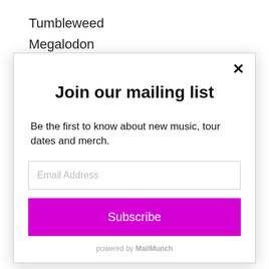Tumbleweed
Megalodon
Wildfire
The Flood*
Join our mailing list
Be the first to know about new music, tour dates and merch.
Email Address
Subscribe
powered by MailMunch